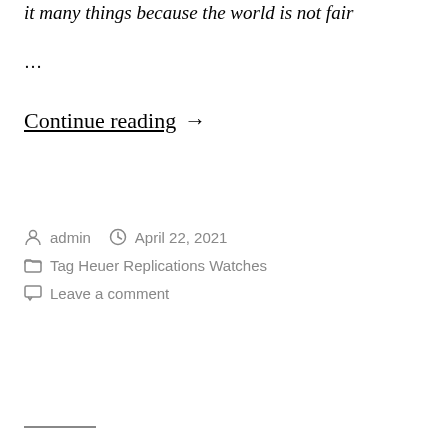… many things because the world is not fair …
…
Continue reading →
admin   April 22, 2021
Tag Heuer Replications Watches
Leave a comment
———